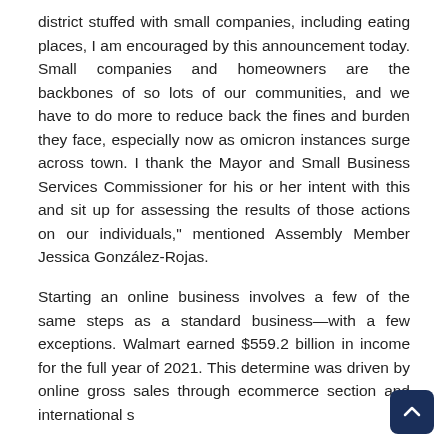district stuffed with small companies, including eating places, I am encouraged by this announcement today. Small companies and homeowners are the backbones of so lots of our communities, and we have to do more to reduce back the fines and burden they face, especially now as omicron instances surge across town. I thank the Mayor and Small Business Services Commissioner for his or her intent with this and sit up for assessing the results of those actions on our individuals," mentioned Assembly Member Jessica González-Rojas.
Starting an online business involves a few of the same steps as a standard business—with a few exceptions. Walmart earned $559.2 billion in income for the full year of 2021. This determine was driven by online gross sales through ecommerce section and international s...